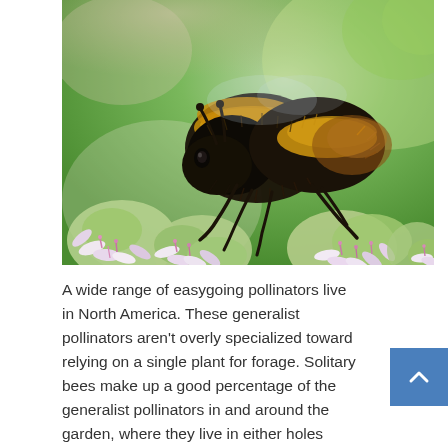[Figure (photo): Close-up macro photograph of a bumblebee (black and yellow, fuzzy body) sitting on a cluster of pink and white clover flowers, with a blurred green background.]
A wide range of easygoing pollinators live in North America. These generalist pollinators aren't overly specialized toward relying on a single plant for forage. Solitary bees make up a good percentage of the generalist pollinators in and around the garden, where they live in either holes drilled into wood by beetle larvae or in tunnels they dig in the soil themselves. Larger bees